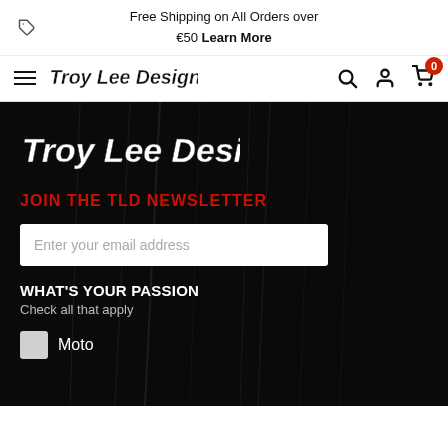Free Shipping on All Orders over €50 Learn More
[Figure (logo): Troy Lee Designs logo in nav bar]
[Figure (logo): Troy Lee Designs large white logo on dark background]
JOIN THE TLD NEWSLETTER
Enter your email address
WHAT'S YOUR PASSION
Check all that apply
Moto